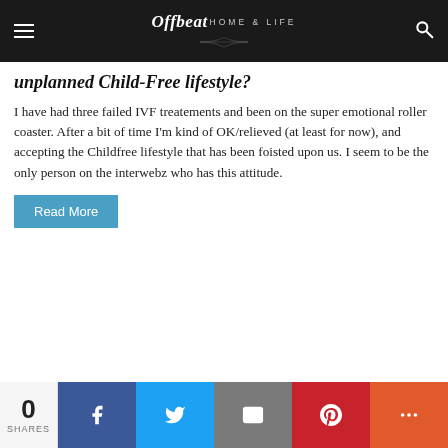Offbeat HOME & LIFE
unplanned Child-Free lifestyle?
I have had three failed IVF treatements and been on the super emotional roller coaster. After a bit of time I'm kind of OK/relieved (at least for now), and accepting the Childfree lifestyle that has been foisted upon us. I seem to be the only person on the interwebz who has this attitude.
Read More
[Figure (photo): Partial image strip visible at bottom of article card, showing colorful dots and partial text 'CHASE CRAWFORD' in red on dark background]
0 SHARES | Facebook | Twitter | Email | Pinterest | More